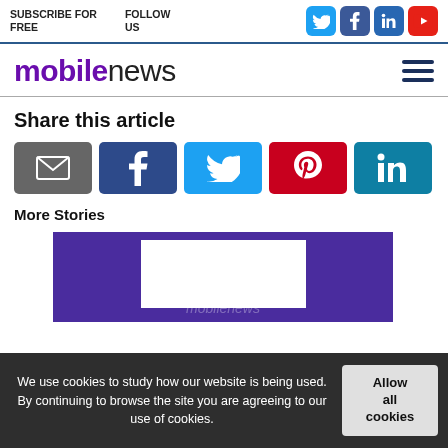SUBSCRIBE FOR FREE | FOLLOW US
[Figure (logo): mobilenews logo with purple 'mobile' and dark 'news' text]
Share this article
[Figure (infographic): Share buttons: email (grey), Facebook (dark blue), Twitter (light blue), Pinterest (red), LinkedIn (teal)]
More Stories
[Figure (photo): Purple background thumbnail with white inner rectangle and mobilenews watermark]
We use cookies to study how our website is being used. By continuing to browse the site you are agreeing to our use of cookies.